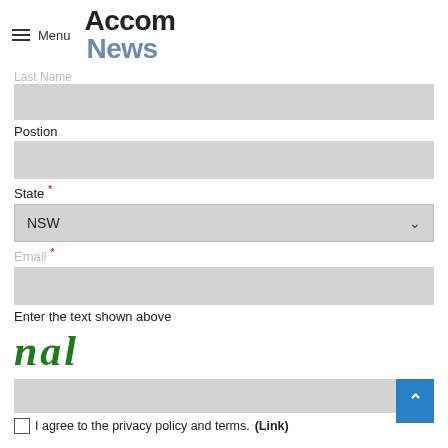Menu | Accom News
Last Name
Postion
State *
NSW (dropdown)
Email *
Enter the text shown above
[Figure (other): CAPTCHA image showing stylized gothic green text 'nal']
I agree to the privacy policy and terms. (Link)